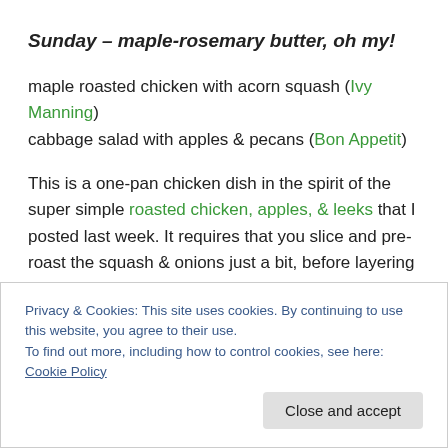Sunday – maple-rosemary butter, oh my!
maple roasted chicken with acorn squash (Ivy Manning)
cabbage salad with apples & pecans (Bon Appetit)
This is a one-pan chicken dish in the spirit of the super simple roasted chicken, apples, & leeks that I posted last week. It requires that you slice and pre-roast the squash & onions just a bit, before layering on the maple-rosemary-
Privacy & Cookies: This site uses cookies. By continuing to use this website, you agree to their use.
To find out more, including how to control cookies, see here: Cookie Policy
Close and accept